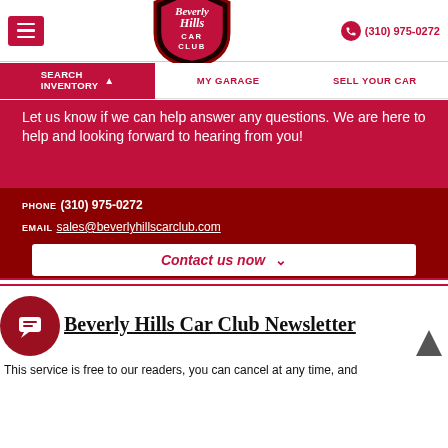Beverly Hills Car Club by Alex Manos | (310) 975-0272
SEARCH INVENTORY
MY GARAGE
SELL YOUR CAR
Let us know if we can help answer any questions. We are here to help and looking forward to hearing from you!
PHONE (310) 975-0272
EMAIL sales@beverlyhillscarclub.com
Contact us now
Beverly Hills Car Club Newsletter
This service is free to our readers, you can cancel at any time, and